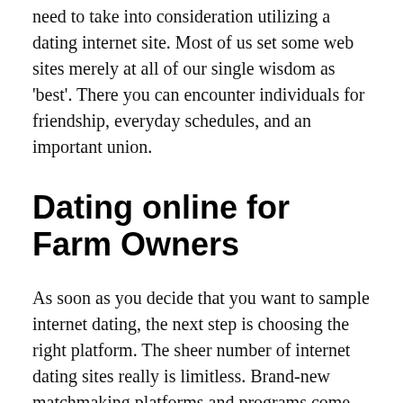need to take into consideration utilizing a dating internet site. Most of us set some web sites merely at all of our single wisdom as 'best'. There you can encounter individuals for friendship, everyday schedules, and an important union.
Dating online for Farm Owners
As soon as you decide that you want to sample internet dating, the next step is choosing the right platform. The sheer number of internet dating sites really is limitless. Brand-new matchmaking platforms and programs come on a daily basis. The two help lonely gents and ladies look for 1, communicate and create a connection. Modern day paid dating sites provide users will all